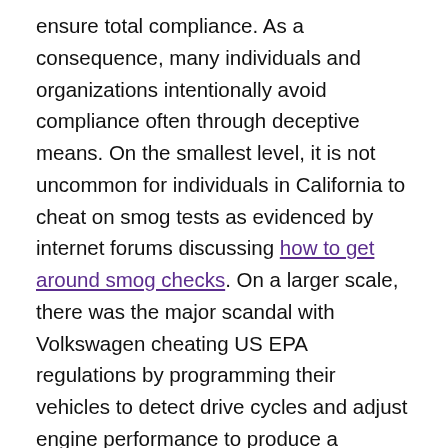ensure total compliance. As a consequence, many individuals and organizations intentionally avoid compliance often through deceptive means. On the smallest level, it is not uncommon for individuals in California to cheat on smog tests as evidenced by internet forums discussing how to get around smog checks. On a larger scale, there was the major scandal with Volkswagen cheating US EPA regulations by programming their vehicles to detect drive cycles and adjust engine performance to produce a different emission pattern than regular driving. People ex rel. Madigan v. Volkswagen Aktiengesellschaft. If it was not for independent research, this scandal may never have been exposed. Why do these occur? In large part, it is because the